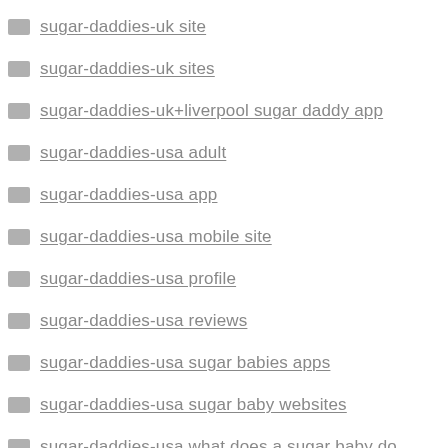sugar-daddies-uk site
sugar-daddies-uk sites
sugar-daddies-uk+liverpool sugar daddy app
sugar-daddies-usa adult
sugar-daddies-usa app
sugar-daddies-usa mobile site
sugar-daddies-usa profile
sugar-daddies-usa reviews
sugar-daddies-usa sugar babies apps
sugar-daddies-usa sugar baby websites
sugar-daddies-usa what does a sugar baby do
sugar-daddies-usa+al+tanner review
sugar-daddies-usa+az review